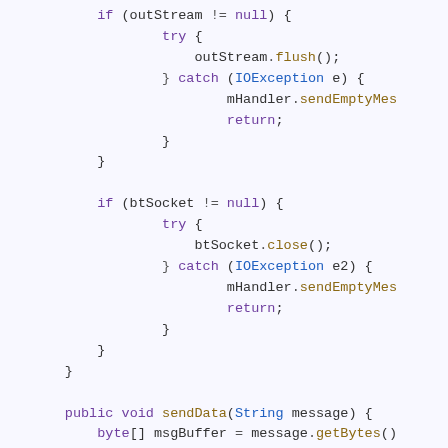[Figure (screenshot): Java source code snippet showing nested try-catch blocks for closing outStream and btSocket, followed by the start of a sendData method. Syntax-highlighted in a dark-on-light color scheme with purple keywords, blue types, and olive/brown method names.]